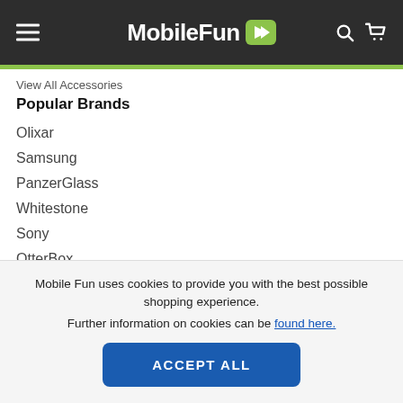MobileFun
View All Accessories
Popular Brands
Olixar
Samsung
PanzerGlass
Whitestone
Sony
OtterBox
Ventev
Baseus
Spigen
LoveCases
Mobile Fun uses cookies to provide you with the best possible shopping experience. Further information on cookies can be found here.